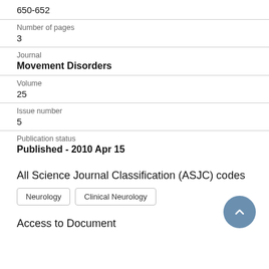650-652
Number of pages
3
Journal
Movement Disorders
Volume
25
Issue number
5
Publication status
Published - 2010 Apr 15
All Science Journal Classification (ASJC) codes
Neurology
Clinical Neurology
Access to Document